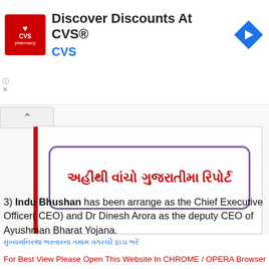[Figure (screenshot): CVS Pharmacy advertisement banner with red logo, text 'Discover Discounts At CVS®' and 'CVS' in blue, and a blue navigation arrow icon on the right]
[Figure (screenshot): Web page element showing a collapse/chevron up button and a white content box with a red vertical bar on the left and a bordered box with Gujarati text in red: 'અહીંથી વાંચો ગુજરાતીમા રિપોર્ટ']
અહીંથી વાંચો ગુજરાતીમા રિપોર્ટ
3) Indu Bhushan has been arrange as the Chief Executive Officer( CEO) and Dr Dinesh Arora as the deputy CEO of Ayushman Bharat Yojana.
For Best View Please Open This Website In CHROME / OPERA Browser